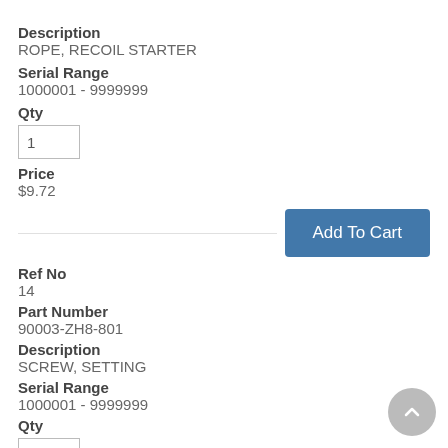Description
ROPE, RECOIL STARTER
Serial Range
1000001 - 9999999
Qty
1
Price
$9.72
Add To Cart
Ref No
14
Part Number
90003-ZH8-801
Description
SCREW, SETTING
Serial Range
1000001 - 9999999
Qty